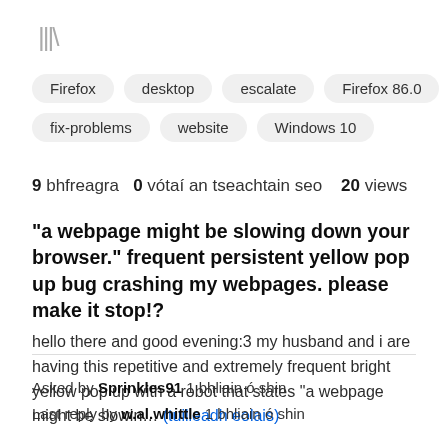[Figure (logo): Mozilla/Firefox library stack icon in gray]
Firefox
desktop
escalate
Firefox 86.0
fix-problems
website
Windows 10
9 bhfreagra   0 vótaí an tseachtain seo   20 views
"a webpage might be slowing down your browser." frequent persistent yellow pop up bug crashing my webpages. please make it stop!?
hello there and good evening:3 my husband and i are having this repetitive and extremely frequent bright yellow pop up with a robot that states "a webpage might be slowin… (tuilleadh eolais)
Asked by Sprinkles91 1 bhliain ó shin
Last reply by w.al.whittle 1 bhliain ó shin